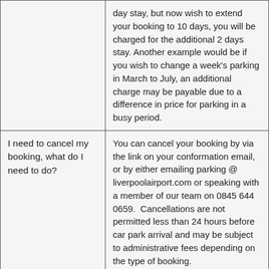|  | day stay, but now wish to extend your booking to 10 days, you will be charged for the additional 2 days stay. Another example would be if you wish to change a week's parking in March to July, an additional charge may be payable due to a difference in price for parking in a busy period. |
| I need to cancel my booking, what do I need to do? | You can cancel your booking by via the link on your conformation email, or by either emailing parking @ liverpoolairport.com or speaking with a member of our team on 0845 644 0659.  Cancellations are not permitted less than 24 hours before car park arrival and may be subject to administrative fees depending on the type of booking. |
| My vehicle details have changed what do I | You can update/amend your vehicle details free of charge up to 24 hours before your parking commences, via the |